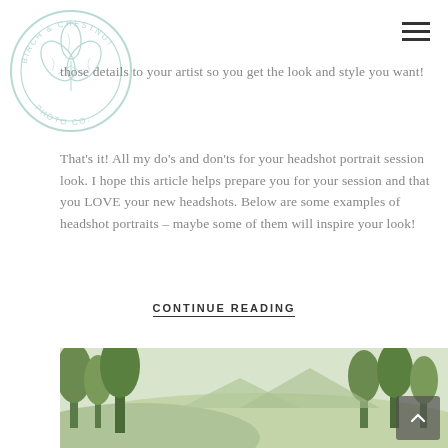[Figure (logo): Birch and Chestnut Photo Co. circular logo with leaf/botanical illustration in mint/teal color]
those details to your artist so you get the look and style you want!
That's it! All my do's and don'ts for your headshot portrait session look. I hope this article helps prepare you for your session and that you LOVE your new headshots. Below are some examples of headshot portraits – maybe some of them will inspire your look!
CONTINUE READING
[Figure (photo): Landscape/outdoor photo partially visible at bottom showing trees and hills in green tones]